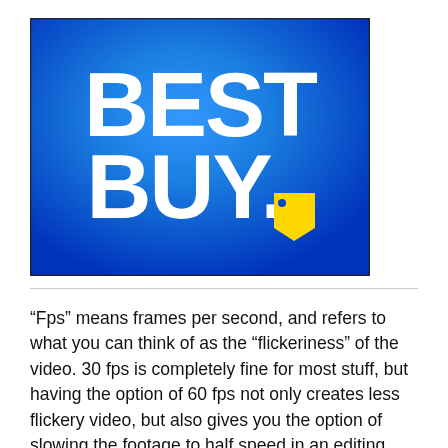[Figure (logo): Best Buy logo — white bold text 'BEST BUY.' with a yellow price-tag icon on a blue gradient background (bright blue center fading to dark blue corners), inside a thin black border rectangle.]
“Fps” means frames per second, and refers to what you can think of as the “flickeriness” of the video. 30 fps is completely fine for most stuff, but having the option of 60 fps not only creates less flickery video, but also gives you the option of slowing the footage to half speed in an editing program without